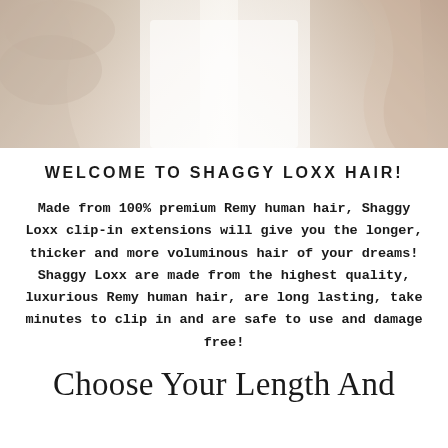[Figure (photo): A woman with long blonde wavy hair wearing a white ruffled off-shoulder top, soft warm background tones]
WELCOME TO SHAGGY LOXX HAIR!
Made from 100% premium Remy human hair, Shaggy Loxx clip-in extensions will give you the longer, thicker and more voluminous hair of your dreams! Shaggy Loxx are made from the highest quality, luxurious Remy human hair, are long lasting, take minutes to clip in and are safe to use and damage free!
Choose Your Length And